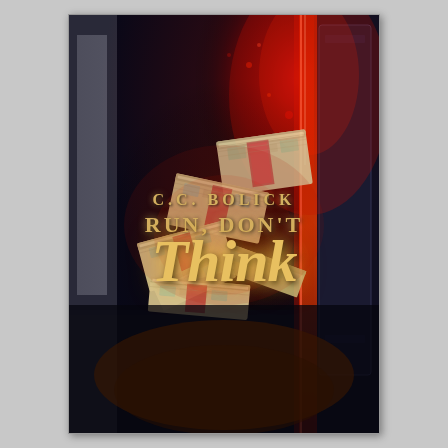[Figure (illustration): Book cover for 'Run, Don't Think' by C.C. Bolick. Dark atmospheric background showing a dark room with a red-lit doorway or window on the right. In the center-upper portion, stacks of bundled US dollar bills are scattered and piled. The lower half features the author name 'C.C. BOLICK' in gold serif uppercase letters, followed by 'RUN, DON'T' in gold uppercase serif letters, and 'Think' in large glowing golden italic script lettering. The overall color palette is dark with deep blues, blacks, and red highlights, with glowing gold text.]